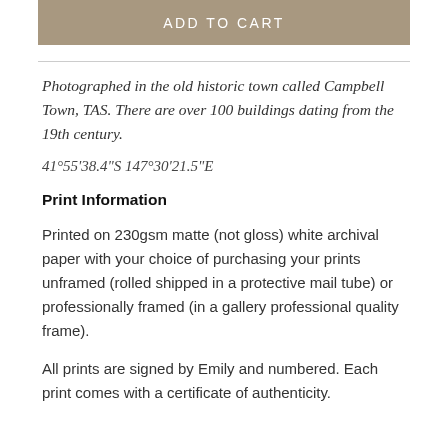ADD TO CART
Photographed in the old historic town called Campbell Town, TAS. There are over 100 buildings dating from the 19th century.
41°55'38.4"S 147°30'21.5"E
Print Information
Printed on 230gsm matte (not gloss) white archival paper with your choice of purchasing your prints unframed (rolled shipped in a protective mail tube) or professionally framed (in a gallery professional quality frame).
All prints are signed by Emily and numbered. Each print comes with a certificate of authenticity.